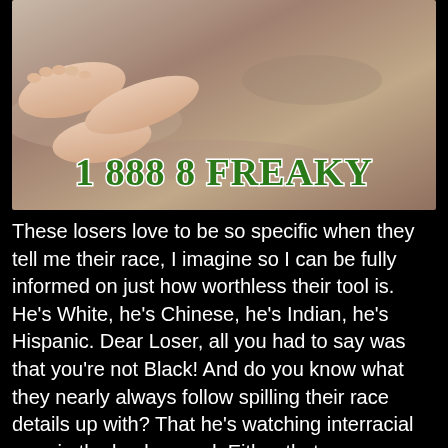[Figure (photo): Photo of legs/feet against a stone or sandy surface background, with a phone number overlay reading '1 888 8 FREAKY' in large green bold serif text with white outline]
These losers love to be so specific when they tell me their race, I imagine so I can be fully informed on just how worthless their tool is. He's White, he's Chinese, he's Indian, he's Hispanic. Dear Loser, all you had to say was that you're not Black! And do you know what they nearly always follow spilling their race details up with? That he's watching interracial porn in the background. Either that or something about putting his balls out of business. It's like clockwork, perfectly timed every time!